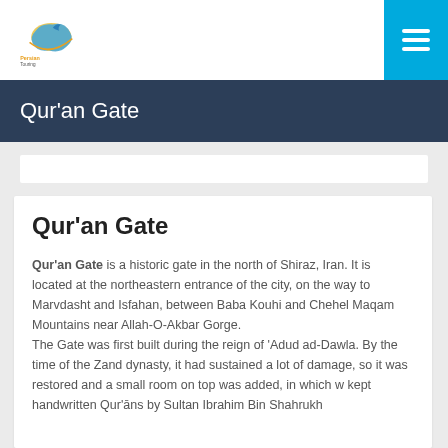Persian Touring [logo] | Menu
Qur'an Gate
Qur'an Gate
Qur'an Gate is a historic gate in the north of Shiraz, Iran. It is located at the northeastern entrance of the city, on the way to Marvdasht and Isfahan, between Baba Kouhi and Chehel Maqam Mountains near Allah-O-Akbar Gorge.
The Gate was first built during the reign of 'Adud ad-Dawla. By the time of the Zand dynasty, it had sustained a lot of damage, so it was restored and a small room on top was added, in which were kept handwritten Qur'āns by Sultan Ibrahim Bin Shahrukh